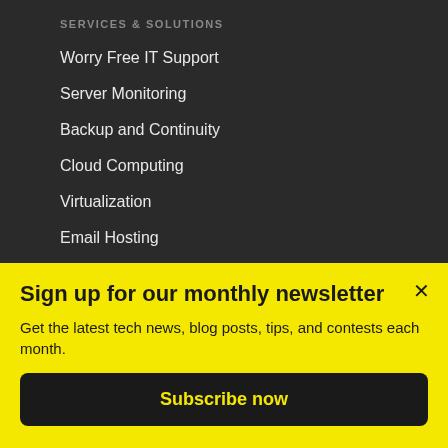SERVICES & SOLUTIONS
Worry Free IT Support
Server Monitoring
Backup and Continuity
Cloud Computing
Virtualization
Email Hosting
Spam and Virus Filtering
Employee Awareness Training
Sign up for our monthly newsletter
Get the latest tech news, blog posts, tips, and contests each month.
Subscribe now